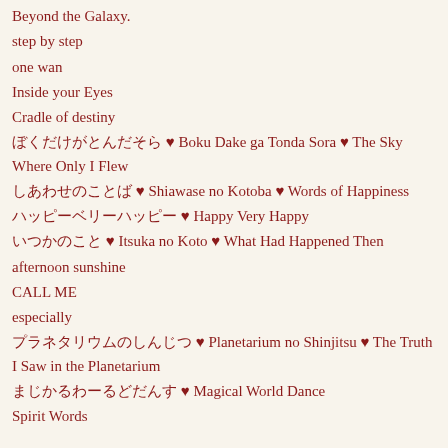Beyond the Galaxy.
step by step
one wan
Inside your Eyes
Cradle of destiny
ぼくだけがとんだそら ♥ Boku Dake ga Tonda Sora ♥ The Sky Where Only I Flew
しあわせのことば ♥ Shiawase no Kotoba ♥ Words of Happiness
ハッピーベリーハッピー ♥ Happy Very Happy
いつかのこと ♥ Itsuka no Koto ♥ What Had Happened Then
afternoon sunshine
CALL ME
especially
プラネタリウムのしんじつ ♥ Planetarium no Shinjitsu ♥ The Truth I Saw in the Planetarium
まじかるわーるどだんす ♥ Magical World Dance
Spirit Words